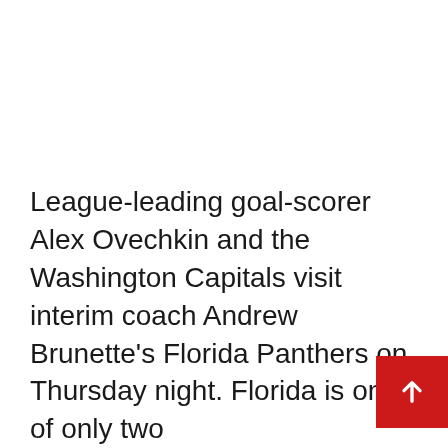League-leading goal-scorer Alex Ovechkin and the Washington Capitals visit interim coach Andrew Brunette's Florida Panthers on Thursday night. Florida is one of only two